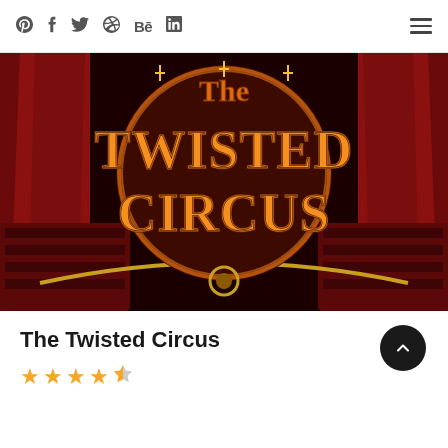Social icons: Pinterest, Facebook, Twitter, Dribbble, Behance, LinkedIn; Hamburger menu
[Figure (illustration): The Twisted Circus game logo — ornate glowing orange and gold lettering on a dark circus interior background with red curtains and theatrical seating]
The Twisted Circus
Star rating: 4.5 out of 5 stars